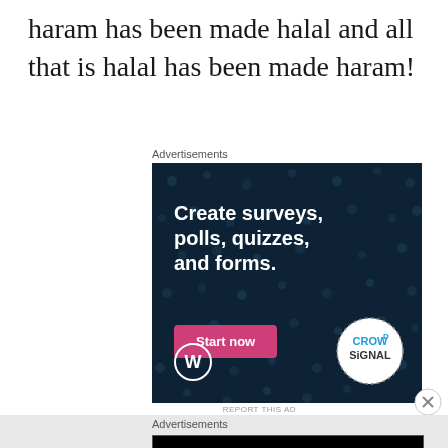haram has been made halal and all that is halal has been made haram!
Advertisements
[Figure (other): Crowdsignal advertisement banner on dark navy background with white bold text 'Create surveys, polls, quizzes, and forms.' with a pink 'Start now' button, WordPress logo bottom left, and Crowdsignal circular logo bottom right.]
REPORT THIS AD
Advertisements
[Figure (other): Longreads advertisement on black background with red circular logo, 'LONGREADS' text in white uppercase, and 'Read anything great lately?' in white serif text.]